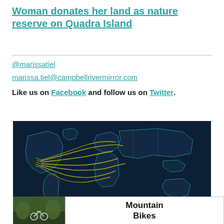Woman donates her land as nature reserve on Quadra Island
@marissatiel
marissa.tiel@campbellrivermirror.com
Like us on Facebook and follow us on Twitter.
[Figure (map): Dark blue world map with yellow route lines originating from North America stretching across the Atlantic toward Europe, showing flight or travel paths.]
[Figure (photo): Advertisement showing a mountain bike on a forest trail with text 'Mountain Bikes']